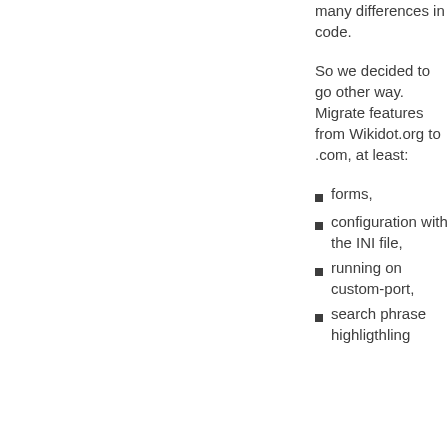many differences in code.
So we decided to go other way. Migrate features from Wikidot.org to .com, at least:
forms,
configuration with the INI file,
running on custom-port,
search phrase highligthling